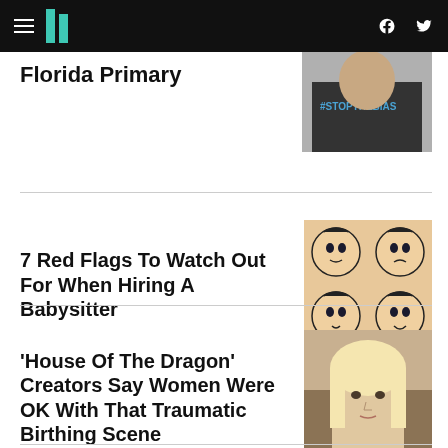HuffPost navigation bar with hamburger menu, logo, Facebook and Twitter icons
Florida Primary
[Figure (photo): Person wearing a #STOPTHEBIAS t-shirt]
7 Red Flags To Watch Out For When Hiring A Babysitter
[Figure (illustration): Four cartoon girl faces with different expressions on a tan/cream background]
‘House Of The Dragon’ Creators Say Women Were OK With That Traumatic Birthing Scene
[Figure (photo): Blonde woman from House of the Dragon looking serious]